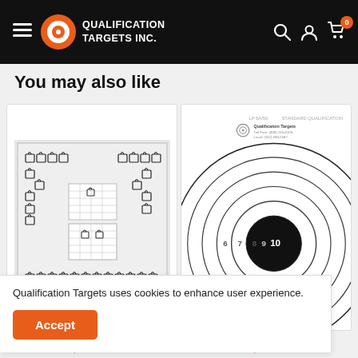Qualification Targets Inc. — Navigation header with hamburger, logo, search, account, and cart icons
You may also like
[Figure (photo): Shooting target paper with multiple silhouette shapes arranged in a grid pattern, light gray background, product DS-MS11 label.]
[Figure (photo): Circular shooting target with concentric rings scored 6, 7, 8, 9, 10, black center bullseye, white background. Standard Qualification Target by Qualification Targets.]
Qualification Targets uses cookies to enhance user experience.
Accept
$19.50
$7.50